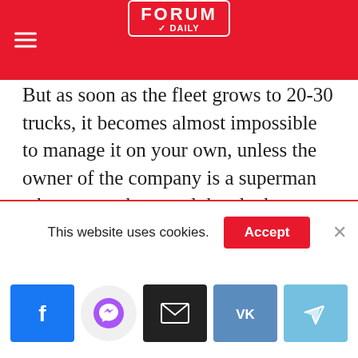Forum Daily
But as soon as the fleet grows to 20-30 trucks, it becomes almost impossible to manage it on your own, unless the owner of the company is a superman who can work around the clock, not eat or sleep. If a businessman still tries to provide fleet management on his own, then due to constant employment he hardly sees his family, and the level of service in relation to drivers drops.
This website uses cookies.
Accept